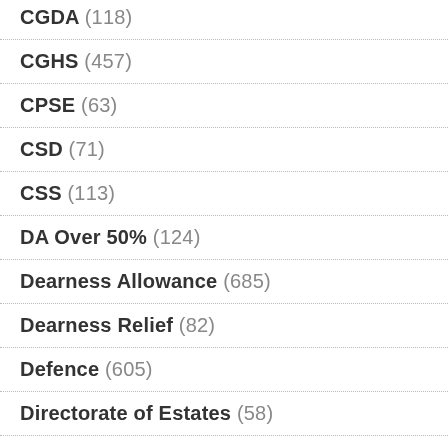CGDA (118)
CGHS (457)
CPSE (63)
CSD (71)
CSS (113)
DA Over 50% (124)
Dearness Allowance (685)
Dearness Relief (82)
Defence (605)
Directorate of Estates (58)
DOPT Orders (1,412)
ECHS (11)